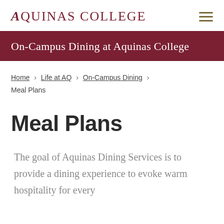AQUINAS COLLEGE
On-Campus Dining at Aquinas College
Home › Life at AQ › On-Campus Dining › Meal Plans
Meal Plans
The goal of Aquinas Dining Services is to provide a dining experience to evoke warm hospitality for every